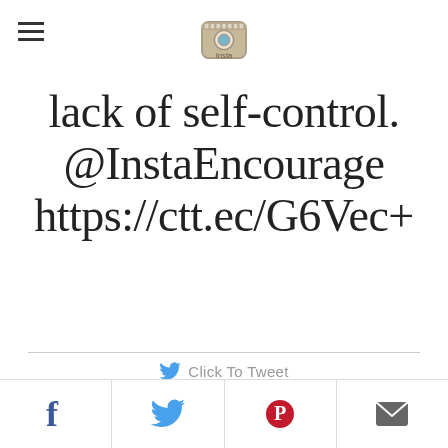InstaEncourage logo and hamburger menu
lack of self-control. @InstaEncourage https://ctt.ec/G6Vec+
Click To Tweet
As I said earlier, impatience is a slippery slope toward anger. While impatience is an inner sin struggle, anger is the outward, sinful display of such a heart. As with impatience, to overcome anger I need to learn and exercise humility. But
Social share bar: Facebook, Twitter, Pinterest, Email